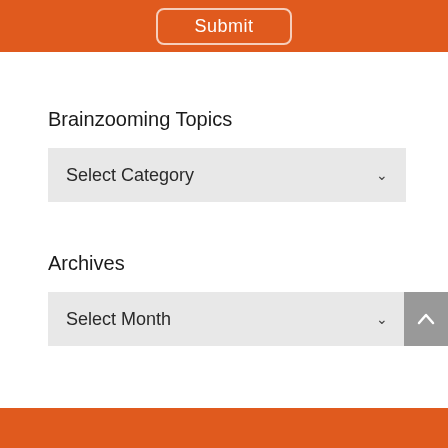[Figure (screenshot): Orange banner at top with a Submit button rendered in white text with a light border]
Brainzooming Topics
[Figure (screenshot): Dropdown selector labeled 'Select Category' with a chevron arrow on the right, light gray background]
Archives
[Figure (screenshot): Dropdown selector labeled 'Select Month' with a chevron arrow on the right, light gray background, and a gray scroll-to-top button on the far right]
[Figure (screenshot): Orange footer bar at the bottom of the page]